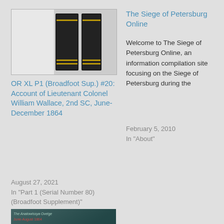[Figure (photo): Two dark hardcover book spines side by side on a light background]
OR XL P1 (Broadfoot Sup.) #20: Account of Lieutenant Colonel William Wallace, 2nd SC, June-December 1864
August 27, 2021
In "Part 1 (Serial Number 80) (Broadfoot Supplement)"
The Siege of Petersburg Online
Welcome to The Siege of Petersburg Online, an information compilation site focusing on the Siege of Petersburg during the
February 5, 2010
In "About"
[Figure (photo): Historical image with overlaid text about the Siege of Petersburg, June-August 1864]